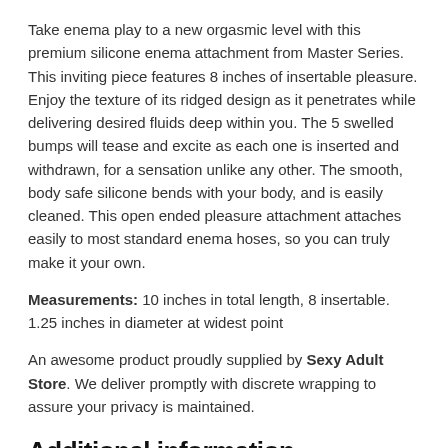Take enema play to a new orgasmic level with this premium silicone enema attachment from Master Series. This inviting piece features 8 inches of insertable pleasure. Enjoy the texture of its ridged design as it penetrates while delivering desired fluids deep within you. The 5 swelled bumps will tease and excite as each one is inserted and withdrawn, for a sensation unlike any other. The smooth, body safe silicone bends with your body, and is easily cleaned. This open ended pleasure attachment attaches easily to most standard enema hoses, so you can truly make it your own.
Measurements: 10 inches in total length, 8 insertable. 1.25 inches in diameter at widest point
An awesome product proudly supplied by Sexy Adult Store. We deliver promptly with discrete wrapping to assure your privacy is maintained.
Additional information